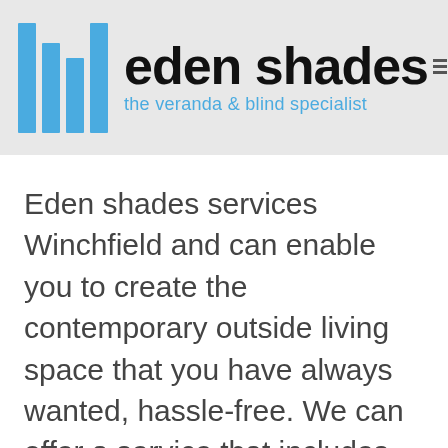[Figure (logo): Eden Shades logo: blue vertical bars icon on the left, bold black text 'eden shades' with stacked lines icon, blue subtitle 'the veranda & blind specialist']
Eden shades services Winchfield and can enable you to create the contemporary outside living space that you have always wanted, hassle-free. We can offer a service that includes survey, fitting and